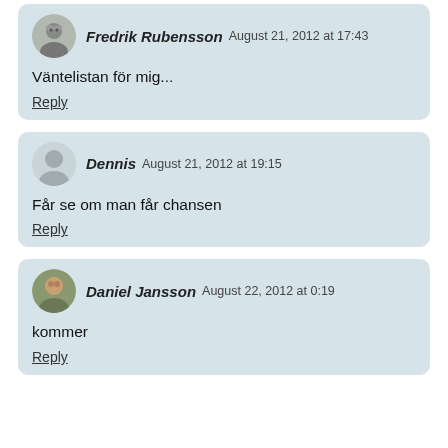Fredrik Rubensson August 21, 2012 at 17:43
Väntelistan för mig...
Reply
Dennis August 21, 2012 at 19:15
Får se om man får chansen
Reply
Daniel Jansson August 22, 2012 at 0:19
kommer
Reply